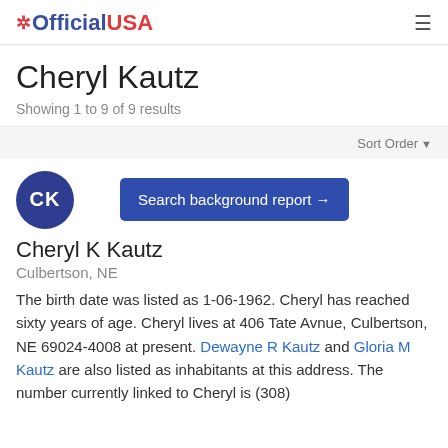OfficialUSA
Cheryl Kautz
Showing 1 to 9 of 9 results
Sort Order
[Figure (other): Blue circle avatar with initials CK]
Search background report →
Cheryl K Kautz
Culbertson, NE
The birth date was listed as 1-06-1962. Cheryl has reached sixty years of age. Cheryl lives at 406 Tate Avnue, Culbertson, NE 69024-4008 at present. Dewayne R Kautz and Gloria M Kautz are also listed as inhabitants at this address. The number currently linked to Cheryl is (308)